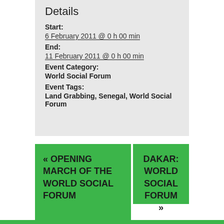Details
Start:
6 February 2011 @ 0 h 00 min
End:
11 February 2011 @ 0 h 00 min
Event Category:
World Social Forum
Event Tags:
Land Grabbing, Senegal, World Social Forum
« OPENING MARCH OF THE WORLD SOCIAL FORUM
DAKAR: WORLD SOCIAL FORUM »